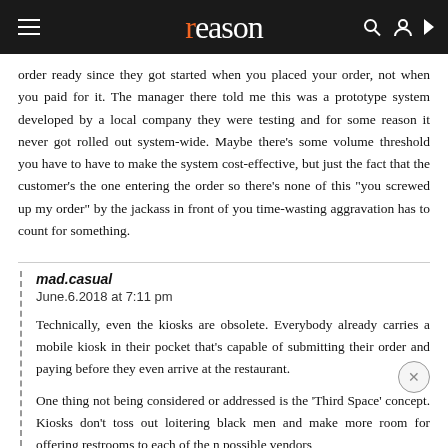reason
order ready since they got started when you placed your order, not when you paid for it. The manager there told me this was a prototype system developed by a local company they were testing and for some reason it never got rolled out system-wide. Maybe there's some volume threshold you have to have to make the system cost-effective, but just the fact that the customer's the one entering the order so there's none of this "you screwed up my order" by the jackass in front of you time-wasting aggravation has to count for something.
mad.casual
June.6.2018 at 7:11 pm

Technically, even the kiosks are obsolete. Everybody already carries a mobile kiosk in their pocket that's capable of submitting their order and paying before they even arrive at the restaurant.

One thing not being considered or addressed is the 'Third Space' concept. Kiosks don't toss out loitering black men and make more room for offering restrooms to each of the n possible vendors
[Figure (screenshot): Bloomingdale's advertisement banner: 'bloomingdales - View Today's Top Deals!' with a woman in a wide-brim hat and SHOP NOW > button]